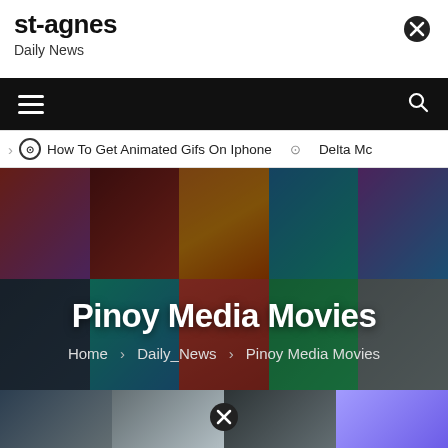st-agnes
Daily News
How To Get Animated Gifs On Iphone   Delta Mc
[Figure (photo): Hero banner showing a mosaic grid of Filipino movie/TV show thumbnails with dark overlay, titled 'Pinoy Media Movies'. Breadcrumb: Home > Daily_News > Pinoy Media Movies]
[Figure (photo): Bottom strip of movie thumbnail images with a circular close/X button overlay in the center]